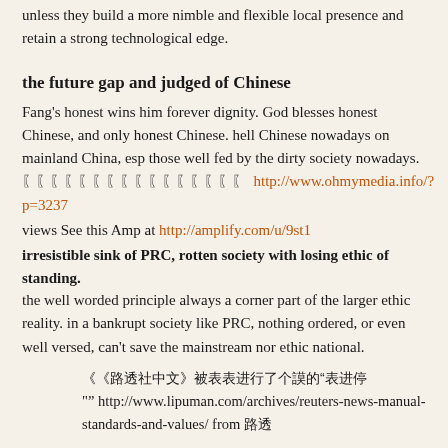unless they build a more nimble and flexible local presence and retain a strong technological edge.
the future gap and judged of Chinese
Fang's honest wins him forever dignity. God blesses honest Chinese, and only honest Chinese. hell Chinese nowadays on mainland China, esp those well fed by the dirty society nowadays. 【【【【【【【【【【【【【【【【  http://www.ohmymedia.info/?p=3237
views See this Amp at http://amplify.com/u/9st1
irresistible sink of PRC, rotten society with losing ethic of standing.
the well worded principle always a corner part of the larger ethic reality. in a bankrupt society like PRC, nothing ordered, or even well versed, can't save the mainstream nor ethic national.
《《路透社中文》"路透中文 "" http://www.lipuman.com/archives/reuters-news-manual-standards-and-values/ from 路透
See this Amp at http://amplify.com/u/9st7